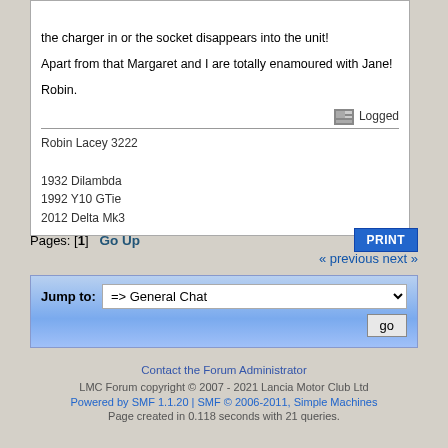the charger in or the socket disappears into the unit!
Apart from that Margaret and I are totally enamoured with Jane!
Robin.
Logged
Robin Lacey 3222
1932 Dilambda
1992 Y10 GTie
2012 Delta Mk3
Pages: [1]   Go Up
« previous next »
Jump to:  => General Chat   go
Contact the Forum Administrator
LMC Forum copyright © 2007 - 2021 Lancia Motor Club Ltd
Powered by SMF 1.1.20 | SMF © 2006-2011, Simple Machines
Page created in 0.118 seconds with 21 queries.